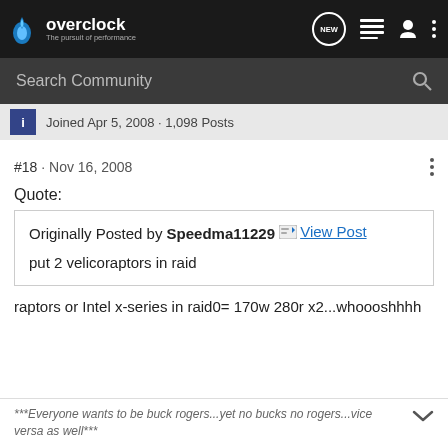overclock - The pursuit of performance
Search Community
Joined Apr 5, 2008 · 1,098 Posts
#18 · Nov 16, 2008
Quote:
Originally Posted by Speedma11229 View Post

put 2 velicoraptors in raid
raptors or Intel x-series in raid0= 170w 280r x2...whoooshhhh
***Everyone wants to be buck rogers...yet no bucks no rogers...vice versa as well***